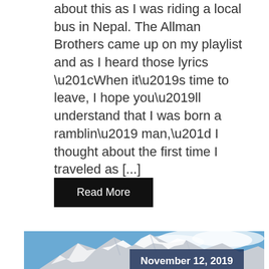about this as I was riding a local bus in Nepal. The Allman Brothers came up on my playlist and as I heard those lyrics “When it’s time to leave, I hope you’ll understand that I was born a ramblin’ man,” I thought about the first time I traveled as [...]
Read More
[Figure (photo): Snow-capped mountain peaks with blue sky and clouds, with a dark blue date overlay showing November 12, 2019]